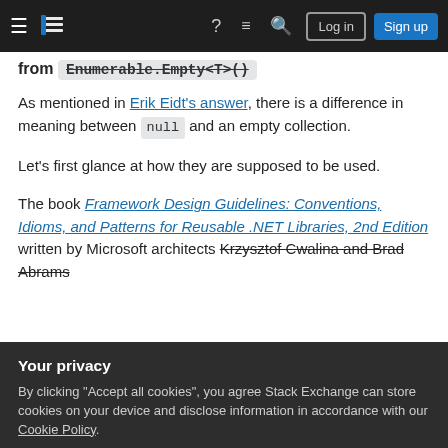Navigation bar with Stack Overflow logo, Log in and Sign up buttons
from Enumerable.Empty<T>()
As mentioned in Erik Eidt's answer, there is a difference in meaning between null and an empty collection.
Let's first glance at how they are supposed to be used.
The book Framework Design Guidelines: Conventions, Idioms, and Patterns for Reusable .NET Libraries, 2nd Edition written by Microsoft architects Krzysztof Cwalina and Brad Abrams
Your privacy
By clicking "Accept all cookies", you agree Stack Exchange can store cookies on your device and disclose information in accordance with our Cookie Policy.
Accept all cookies   Customize settings
collection or an empty array instead.